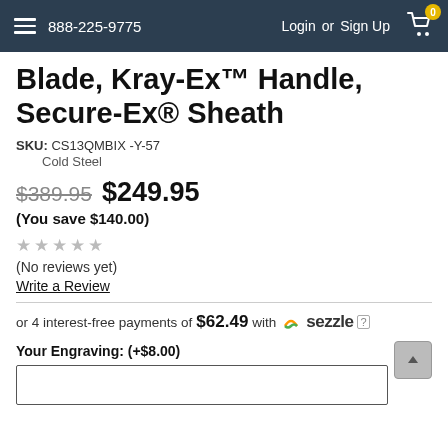888-225-9775  Login or Sign Up
Blade, Kray-Ex™ Handle, Secure-Ex® Sheath
SKU: CS13QMBIX-Y-57
Cold Steel
$389.95 $249.95 (You save $140.00)
(No reviews yet)
Write a Review
or 4 interest-free payments of $62.49 with Sezzle
Your Engraving: (+$8.00)